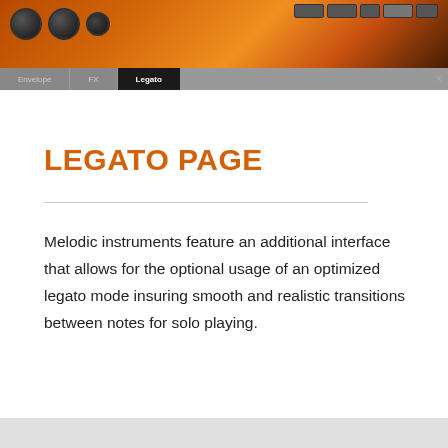[Figure (screenshot): Software instrument interface screenshot showing a dark orange/fire-themed plugin UI with knobs on the left, control buttons on the top right, and tabs at the bottom labeled Envelope, FX, and Legato (active tab highlighted in dark)]
LEGATO PAGE
Melodic instruments feature an additional interface that allows for the optional usage of an optimized legato mode insuring smooth and realistic transitions between notes for solo playing.